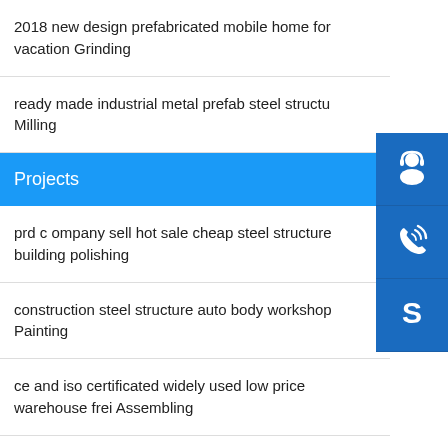2018 new design prefabricated mobile home for vacation Grinding
ready made industrial metal prefab steel structure Milling
Projects
prd c ompany sell hot sale cheap steel structure building polishing
construction steel structure auto body workshop Painting
ce and iso certificated widely used low price warehouse frei Assembling